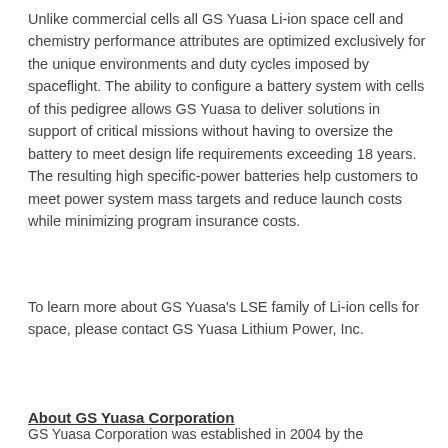Unlike commercial cells all GS Yuasa Li-ion space cell and chemistry performance attributes are optimized exclusively for the unique environments and duty cycles imposed by spaceflight. The ability to configure a battery system with cells of this pedigree allows GS Yuasa to deliver solutions in support of critical missions without having to oversize the battery to meet design life requirements exceeding 18 years. The resulting high specific-power batteries help customers to meet power system mass targets and reduce launch costs while minimizing program insurance costs.
To learn more about GS Yuasa's LSE family of Li-ion cells for space, please contact GS Yuasa Lithium Power, Inc.
About GS Yuasa Corporation
GS Yuasa Corporation was established in 2004 by the...